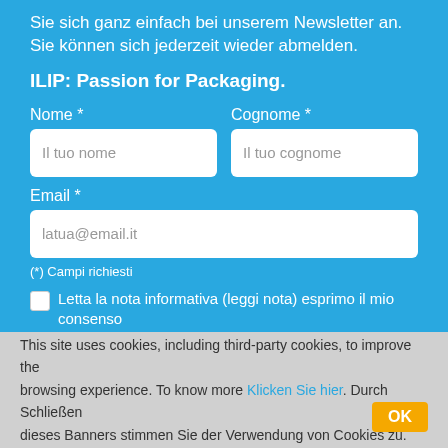Sie sich ganz einfach bei unserem Newsletter an. Sie können sich jederzeit wieder abmelden.
ILIP: Passion for Packaging.
Nome *
Il tuo nome
Cognome *
Il tuo cognome
Email *
latua@email.it
(*) Campi richiesti
Letta la nota informativa (leggi nota) esprimo il mio consenso per l'iscrizione alla mailing list e le finalità promozionali e di
This site uses cookies, including third-party cookies, to improve the browsing experience. To know more Klicken Sie hier. Durch Schließen dieses Banners stimmen Sie der Verwendung von Cookies zu.